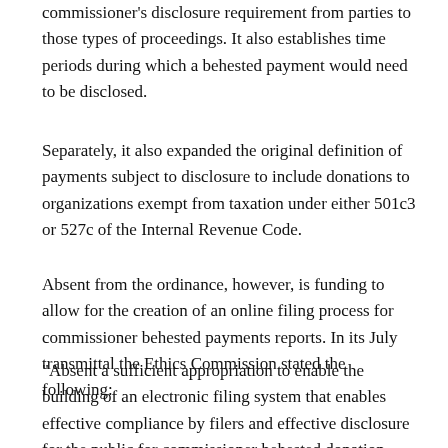commissioner's disclosure requirement from parties to those types of proceedings. It also establishes time periods during which a behested payment would need to be disclosed.
Separately, it also expanded the original definition of payments subject to disclosure to include donations to organizations exempt from taxation under either 501c3 or 527c of the Internal Revenue Code.
Absent from the ordinance, however, is funding to allow for the creation of an online filing process for commissioner behested payments reports. In its July transmittal the Ethics Commission stated the following:
“Absent a sufficient appropriation to enable the building of an electronic filing system that enables effective compliance by filers and effective disclosure for the public for commissioner behested donation reports, the Ethics Commission would not recommend